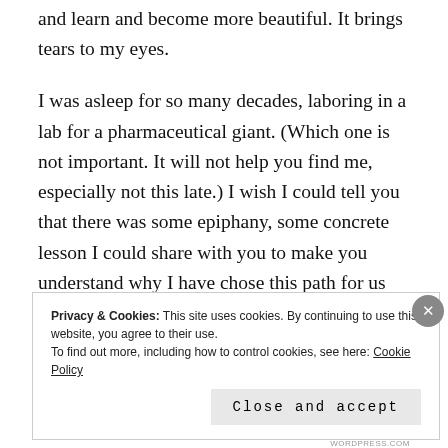and learn and become more beautiful. It brings tears to my eyes.
I was asleep for so many decades, laboring in a lab for a pharmaceutical giant. (Which one is not important. It will not help you find me, especially not this late.) I wish I could tell you that there was some epiphany, some concrete lesson I could share with you to make you understand why I have chose this path for us all. The truth is sadly mundane: the influx of money from a chain of discoveries gave me the time to think, and
Privacy & Cookies: This site uses cookies. By continuing to use this website, you agree to their use.
To find out more, including how to control cookies, see here: Cookie Policy
Close and accept